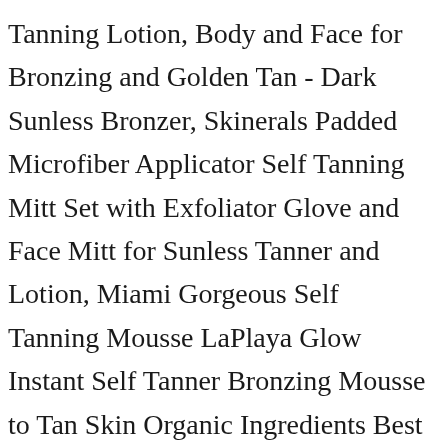Tanning Lotion, Body and Face for Bronzing and Golden Tan - Dark Sunless Bronzer, Skinerals Padded Microfiber Applicator Self Tanning Mitt Set with Exfoliator Glove and Face Mitt for Sunless Tanner and Lotion, Miami Gorgeous Self Tanning Mousse LaPlaya Glow Instant Self Tanner Bronzing Mousse to Tan Skin Organic Ingredients Best Natural Self Tanner Satisfaction Guarantee 4.2 oz, MODELCO Tanning Water | Self Tanner Body Spray, STEUGO Self Tanning Mitt Applicator Mit Sunless Tanning Mitten Self Tanner Mit Self Tan Mit Self Tan Applicator mit...